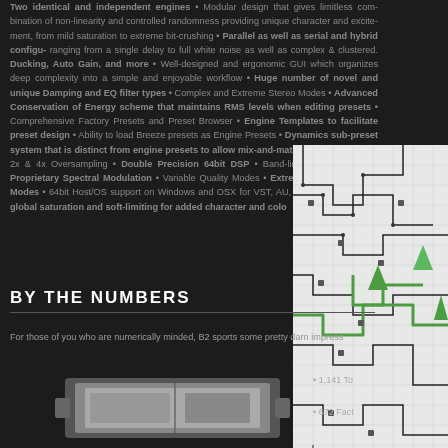Two identical and independent engines • Modular design that gives limitless combination of non-linearity and controlled randomness providing unique character and excitement, from mild saturation to extreme bit-crushing • Parallel as well as serial and hybrid configurations ranging from a single delay to full white noise as well as complex & clustered... Ducking, Auto Gain, and more • Well-designed and ergonomic GUI which organizes deep complexity into a simple and enjoyable workflow • Huge number of novel and unique Damping and EQ filter types • Complex and Extreme Stereo Modes • Advanced Conservation of Energy scheme that maintains RMS levels when editing presets • Comprehensive Factory Presets and Preset Browser • Engine Templates to facilitate preset design • Ability to load Breeze presets as Engine Presets • Dynamics sub-preset system that is distinct from engine presets to allow mix-and-match preset creation • 2x & 4x Oversampling • Double Precision 64bit DSP • Band-limited Interpolation • Proprietary Spectral Modulation • Variable Quality Modes • Extreme Off-line Render Modes • 64bit Host/OS support on Windows and OSX for VST, AU, and AAX • Optional global saturation and soft-limiting for added character and color
[Figure (photo): Circuit board diagram with green highlighted paths and pins, showing electronic routing on a dark background. Caption: No an...]
BY THE NUMBERS
For those of you who are numerically minded, B2 sports some pretty darn impress...
[Figure (photo): Product hardware image showing a silver/grey audio device]
• 1,141 To...
• 672 Fact...